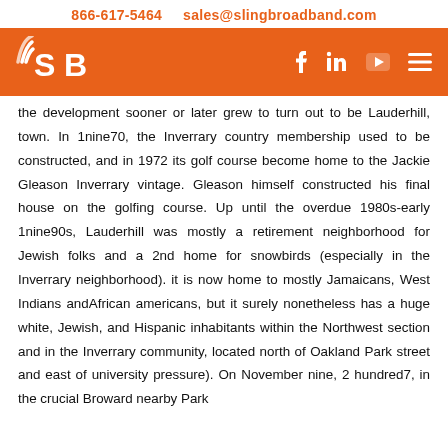866-617-5464    sales@slingbroadband.com
[Figure (logo): Sling Broadband (SB) logo in white on orange background, with social media icons (Facebook, LinkedIn, YouTube, menu) on the right]
the development sooner or later grew to turn out to be Lauderhill, town. In 1nine70, the Inverrary country membership used to be constructed, and in 1972 its golf course become home to the Jackie Gleason Inverrary vintage. Gleason himself constructed his final house on the golfing course. Up until the overdue 1980s-early 1nine90s, Lauderhill was mostly a retirement neighborhood for Jewish folks and a 2nd home for snowbirds (especially in the Inverrary neighborhood). it is now home to mostly Jamaicans, West Indians andAfrican americans, but it surely nonetheless has a huge white, Jewish, and Hispanic inhabitants within the Northwest section and in the Inverrary community, located north of Oakland Park street and east of university pressure). On November nine, 2 hundred7, in the crucial Broward nearby Park